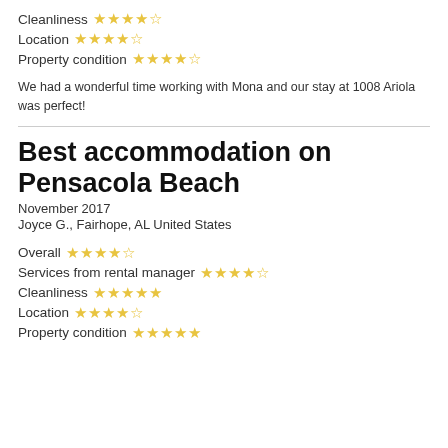Cleanliness ★★★★★
Location ★★★★★
Property condition ★★★★★
We had a wonderful time working with Mona and our stay at 1008 Ariola was perfect!
Best accommodation on Pensacola Beach
November 2017
Joyce G., Fairhope, AL United States
Overall ★★★★★
Services from rental manager ★★★★★
Cleanliness ★★★★★
Location ★★★★★
Property condition ★★★★★